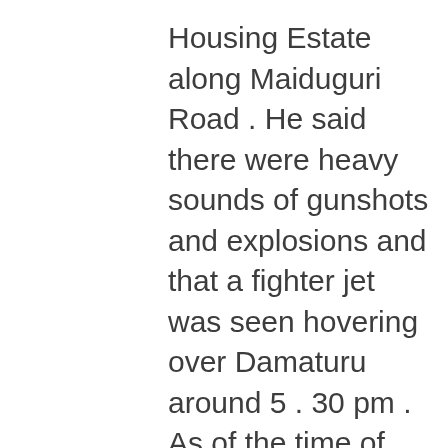Housing Estate along Maiduguri Road . He said there were heavy sounds of gunshots and explosions and that a fighter jet was seen hovering over Damaturu around 5 . 30 pm . As of the time of filing this report, the military authorities were believed to be writing a statement